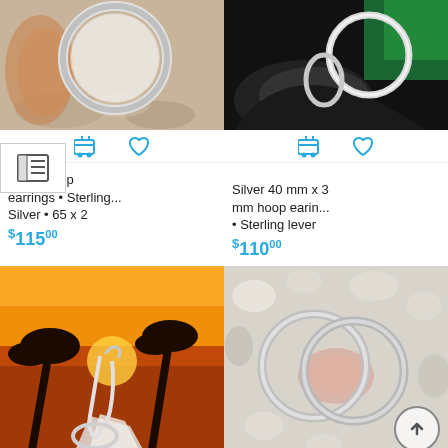[Figure (photo): Top-down view of a large silver hoop earring against a shell/stone background]
[Figure (photo): Silver hoop earrings against dark black/green background]
Large hoop earrings • Sterling... Silver • 65 x 2
$115.00
Silver 40 mm x 3 mm hoop earin... • Sterling lever
$110.00
[Figure (photo): Silver hoop earrings against a tropical sunset background with palm trees]
[Figure (photo): Two silver hoop earrings on white shells/pebbles background]